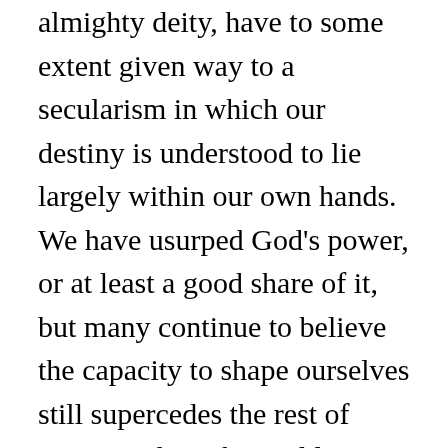almighty deity, have to some extent given way to a secularism in which our destiny is understood to lie largely within our own hands. We have usurped God's power, or at least a good share of it, but many continue to believe the capacity to shape ourselves still supercedes the rest of nature and its physical laws. Free will, on the libertarian, incompatibilist account, in which we are ultimately responsible for ourselves and our acts (see Introduction, p. xiii), makes the self more or less a first cause, an unmoved mover: we could have willed otherwise in the radical sense that